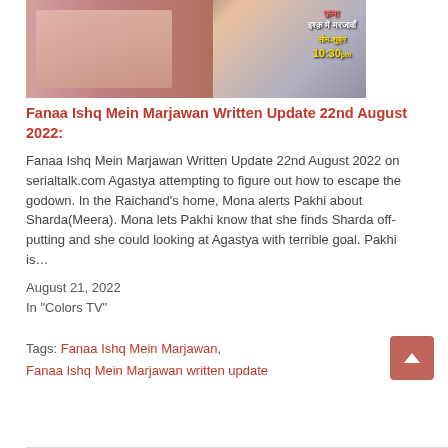[Figure (photo): TV show promotional image for Fanaa Ishq Mein Marjawan showing a couple in traditional wedding attire with Hindi text overlay showing show name, schedule (सोम-शुक्र) and time (10:30pm)]
Fanaa Ishq Mein Marjawan Written Update 22nd August 2022:
Fanaa Ishq Mein Marjawan Written Update 22nd August 2022 on serialtalk.com Agastya attempting to figure out how to escape the godown. In the Raichand's home, Mona alerts Pakhi about Sharda(Meera). Mona lets Pakhi know that she finds Sharda off-putting and she could looking at Agastya with terrible goal. Pakhi is…
August 21, 2022
In "Colors TV"
Tags: Fanaa Ishq Mein Marjawan, Fanaa Ishq Mein Marjawan written update